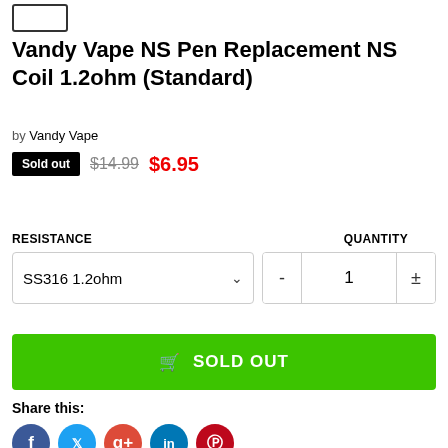[Figure (other): Checkbox / image placeholder in top-left corner]
Vandy Vape NS Pen Replacement NS Coil 1.2ohm (Standard)
by Vandy Vape
Sold out  $14.99  $6.95
RESISTANCE  QUANTITY
SS316 1.2ohm  -  1  ±
SOLD OUT
Share this:
[Figure (other): Social media share icons: Facebook, Twitter, Google+, LinkedIn, Pinterest]